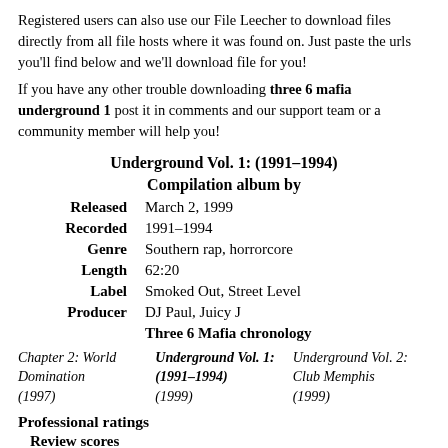Registered users can also use our File Leecher to download files directly from all file hosts where it was found on. Just paste the urls you'll find below and we'll download file for you!
If you have any other trouble downloading three 6 mafia underground 1 post it in comments and our support team or a community member will help you!
| Released | March 2, 1999 |
| Recorded | 1991–1994 |
| Genre | Southern rap, horrorcore |
| Length | 62:20 |
| Label | Smoked Out, Street Level |
| Producer | DJ Paul, Juicy J |
|  | Three 6 Mafia chronology |
Chapter 2: World Domination (1997) | Underground Vol. 1: (1991–1994) (1999) | Underground Vol. 2: Club Memphis (1999)
Professional ratings
Review scores